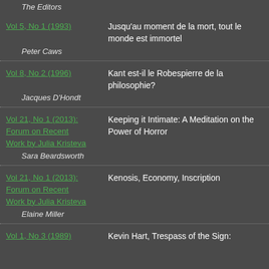The Editors
Vol 5, No 1 (1993) | Jusqu'au moment de la mort, tout le monde est immortel
Peter Caws
Vol 8, No 2 (1996) | Kant est-il le Robespierre de la philosophie?
Jacques D'Hondt
Vol 21, No 1 (2013): Forum on Recent Work by Julia Kristeva | Keeping it Intimate: A Meditation on the Power of Horror
Sara Beardsworth
Vol 21, No 1 (2013): Forum on Recent Work by Julia Kristeva | Kenosis, Economy, Inscription
Elaine Miller
Vol 1, No 3 (1989) | Kevin Hart, Trespass of the Sign: